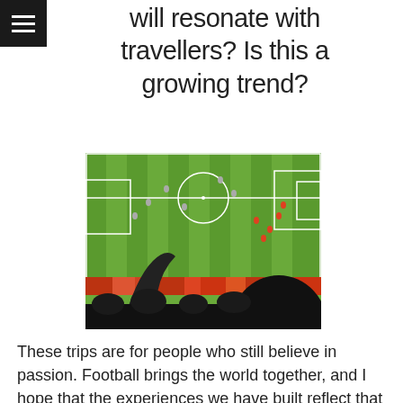will resonate with travellers? Is this a growing trend?
[Figure (photo): Aerial view of a football/soccer match from the stands, with silhouettes of cheering fans in the foreground and players on a green striped pitch in the background.]
These trips are for people who still believe in passion. Football brings the world together, and I hope that the experiences we have built reflect that